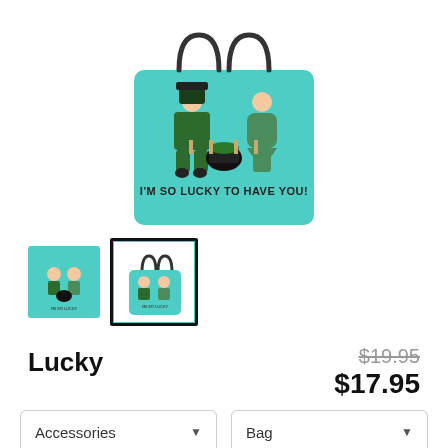[Figure (photo): Main product image: teal/turquoise tote bag with cartoon leprechaun and fairy characters, text 'I'M SO LUCKY TO HAVE YOU!' on the bag]
[Figure (photo): Thumbnail 1: square image showing front design of the tote bag (no border/selected)]
[Figure (photo): Thumbnail 2: image showing full tote bag with handle (selected, black border)]
Lucky
$19.95 (strikethrough original price)
$17.95 (sale price)
Accessories (dropdown)
Bag (dropdown)
Tote Bag (dropdown)